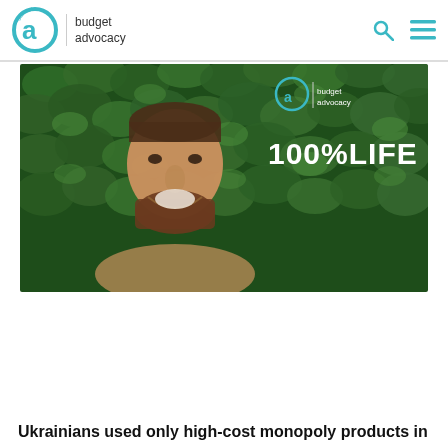budget advocacy
[Figure (photo): A smiling bearded man in front of green leafy background, with budget advocacy logo and 100%LIFE text overlay]
Ukrainians used only high-cost monopoly products in